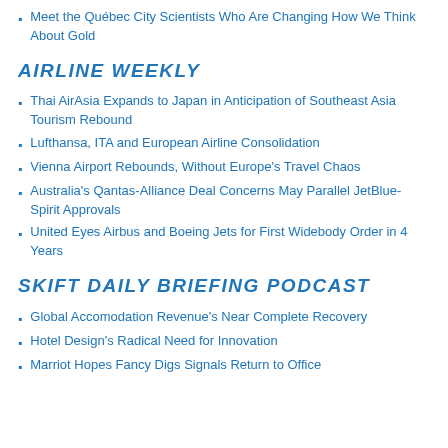Meet the Québec City Scientists Who Are Changing How We Think About Gold
AIRLINE WEEKLY
Thai AirAsia Expands to Japan in Anticipation of Southeast Asia Tourism Rebound
Lufthansa, ITA and European Airline Consolidation
Vienna Airport Rebounds, Without Europe's Travel Chaos
Australia's Qantas-Alliance Deal Concerns May Parallel JetBlue-Spirit Approvals
United Eyes Airbus and Boeing Jets for First Widebody Order in 4 Years
SKIFT DAILY BRIEFING PODCAST
Global Accomodation Revenue's Near Complete Recovery
Hotel Design's Radical Need for Innovation
Marriot Hopes Fancy Digs Signals Return to Office